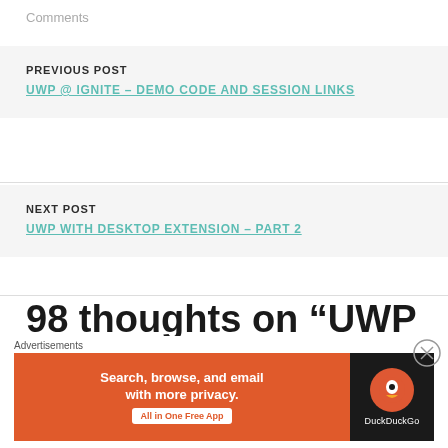Comments
PREVIOUS POST
UWP @ IGNITE – DEMO CODE AND SESSION LINKS
NEXT POST
UWP WITH DESKTOP EXTENSION – PART 2
98 thoughts on “UWP with Desktop Extension – Part 1”
[Figure (other): DuckDuckGo advertisement banner: Search, browse, and email with more privacy. All in One Free App]
Advertisements